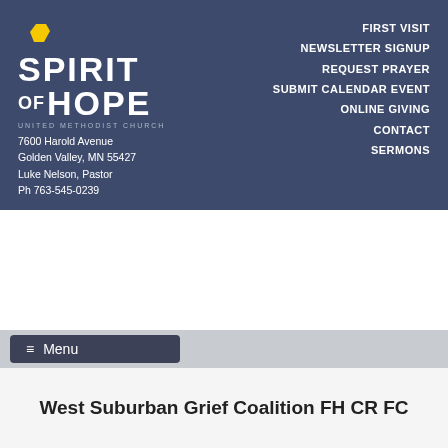[Figure (logo): Spirit of Hope United Methodist Church logo with yellow chevron, white bold text 'SPIRIT OF HOPE', subtitle 'UNITED METHODIST CHURCH', address 7600 Harold Avenue, Golden Valley MN 55427, Luke Nelson Pastor, Ph 763-545-0239]
FIRST VISIT
NEWSLETTER SIGNUP
REQUEST PRAYER
SUBMIT CALENDAR EVENT
ONLINE GIVING
CONTACT
SERMONS
[Figure (logo): RADIATE logo on magenta/pink background with yellow chevron accent above the word RADIATE in large white bold letters]
≡ Menu
West Suburban Grief Coalition FH CR FC